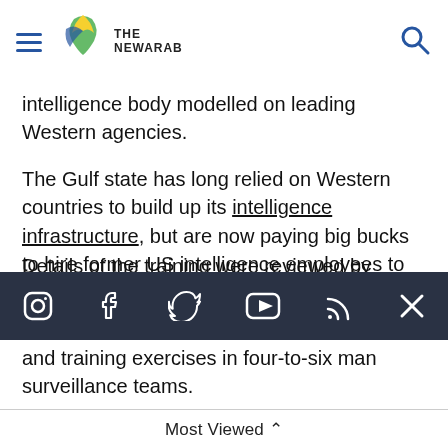THE NEWARAB
intelligence body modelled on leading Western agencies.
The Gulf state has long relied on Western countries to build up its intelligence infrastructure, but are now paying big bucks to hire former US intelligence employees to build its spying capabilities.
Details of the training were reviewed by Foreign
[Figure (other): Social media icons bar: Instagram, Facebook, Twitter, YouTube, RSS, X (close)]
and training exercises in four-to-six man surveillance teams.
The following weeks provide advanced training on creating undercover identities when attending
Most Viewed ^